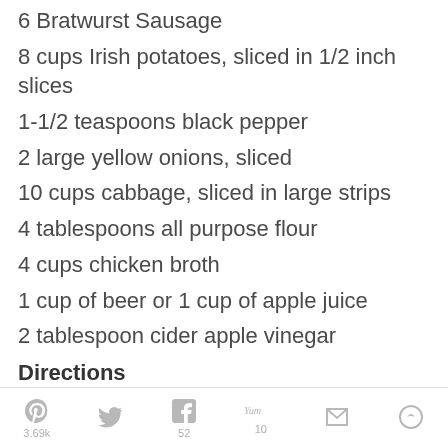6 Bratwurst Sausage
8 cups Irish potatoes, sliced in 1/2 inch slices
1-1/2 teaspoons black pepper
2 large yellow onions, sliced
10 cups cabbage, sliced in large strips
4 tablespoons all purpose flour
4 cups chicken broth
1 cup of beer or 1 cup of apple juice
2 tablespoon cider apple vinegar
Directions
In a hot skillet cook the bacon until crisp and the fat is rendered. Remove the bacon
3.69k  52  10